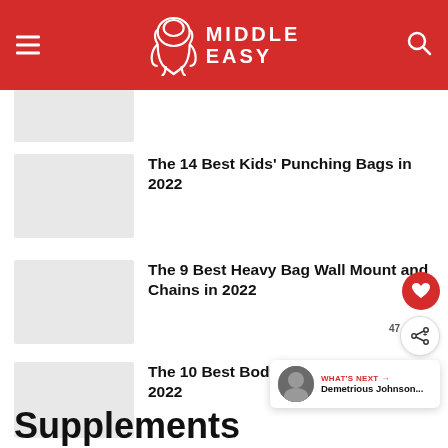MIDDLE EASY
[Figure (photo): Placeholder thumbnail image (gray box)]
The 14 Best Kids' Punching Bags in 2022
[Figure (photo): Placeholder thumbnail image (gray box)]
The 9 Best Heavy Bag Wall Mount and Chains in 2022
[Figure (photo): Placeholder thumbnail image (gray box)]
The 10 Best Body Fat Calipers in 2022
Supplements